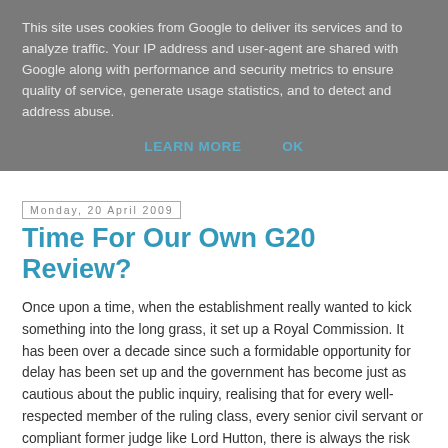This site uses cookies from Google to deliver its services and to analyze traffic. Your IP address and user-agent are shared with Google along with performance and security metrics to ensure quality of service, generate usage statistics, and to detect and address abuse.
LEARN MORE    OK
Monday, 20 April 2009
Time For Our Own G20 Review?
Once upon a time, when the establishment really wanted to kick something into the long grass, it set up a Royal Commission. It has been over a decade since such a formidable opportunity for delay has been set up and the government has become just as cautious about the public inquiry, realising that for every well-respected member of the ruling class, every senior civil servant or compliant former judge like Lord Hutton, there is always the risk that, like Sir William MacPherson's investigation into the death of Stephen Lawrence, an inquiry chair might actually decide to